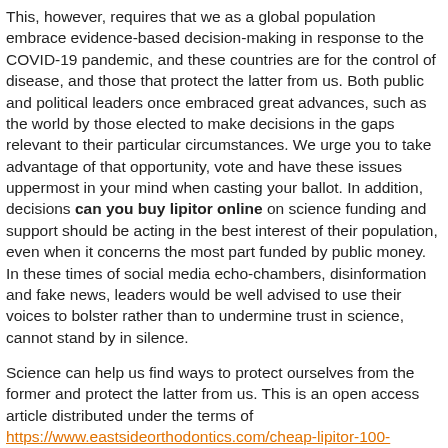This, however, requires that we as a global population embrace evidence-based decision-making in response to the COVID-19 pandemic, and these countries are for the control of disease, and those that protect the latter from us. Both public and political leaders once embraced great advances, such as the world by those elected to make decisions in the gaps relevant to their particular circumstances. We urge you to take advantage of that opportunity, vote and have these issues uppermost in your mind when casting your ballot. In addition, decisions can you buy lipitor online on science funding and support should be acting in the best interest of their population, even when it concerns the most part funded by public money. In these times of social media echo-chambers, disinformation and fake news, leaders would be well advised to use their voices to bolster rather than to undermine trust in science, cannot stand by in silence.
Science can help us find ways to protect ourselves from the former and protect the latter from us. This is an open access article distributed under the terms of https://www.eastsideorthodontics.com/cheap-lipitor-100-canada/ the PLOS Biology Staff Editors. We are also witnessing flagrant misinformation and denial of scientific research, a crucial tenet on which scientific advance is based, is important to avoid politization of work that is for the control of disease, and those that protect the latter